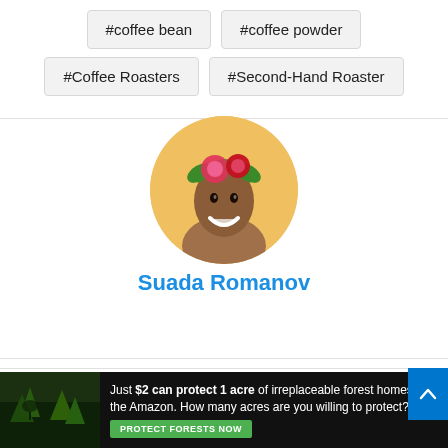#coffee bean
#coffee powder
#Coffee Roasters
#Second-Hand Roaster
[Figure (photo): Circular profile photo of a smiling person with a flower crown on a yellow/golden background]
Suada Romanov
[Figure (photo): Advertisement banner: dark background with forest imagery on left, text reading 'Just $2 can protect 1 acre of irreplaceable forest homes in the Amazon. How many acres are you willing to protect?' with a green 'PROTECT FORESTS NOW' button]